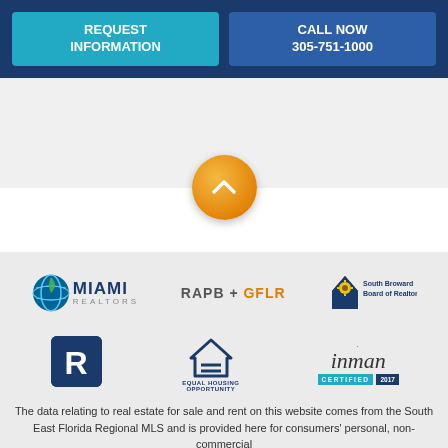[Figure (screenshot): Two call-to-action buttons on dark blue background: 'REQUEST INFORMATION' (teal) and 'CALL NOW 305-751-1000' (blue)]
[Figure (illustration): Orange circle button with white upward chevron arrow, scroll-to-top button on light gray background]
[Figure (logo): Miami Realtors logo with globe icon]
[Figure (logo): RAPB + GFLR logo text]
[Figure (logo): South Broward Board of Realtors logo with sunflower house icon]
[Figure (logo): Realtor R logo in blue square]
[Figure (logo): Equal Housing Opportunity logo with house and equals sign]
[Figure (logo): Inman Certified 2017 logo]
The data relating to real estate for sale and rent on this website comes from the South East Florida Regional MLS and is provided here for consumers' personal, non-commercial